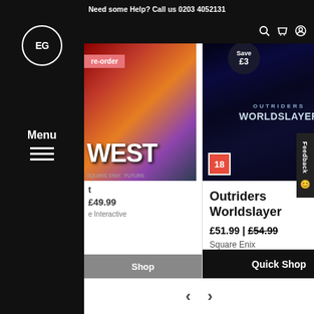Need some Help? Call us 0203 4052131
[Figure (screenshot): EG logo circle in white on black sidebar, with Menu label and hamburger icon]
[Figure (photo): Outriders Worldslayer game cover - woman in dark fantasy setting with blue/dark background, age rating 18, Square Enix]
Outriders Worldslayer
£51.99 | £54.99
Square Enix
Quick Shop
£24.99
U&I
Quick